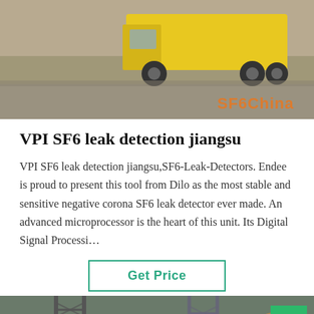[Figure (photo): Yellow truck/vehicle on pavement with SF6China watermark logo in orange]
VPI SF6 leak detection jiangsu
VPI SF6 leak detection jiangsu,SF6-Leak-Detectors. Endee is proud to present this tool from Dilo as the most stable and sensitive negative corona SF6 leak detector ever made. An advanced microprocessor is the heart of this unit. Its Digital Signal Processi…
Get Price
[Figure (photo): Industrial equipment/tower structures in background with dark overlay. Bottom bar with Leave Message, avatar circle, Chat Online, and scroll-to-top green button.]